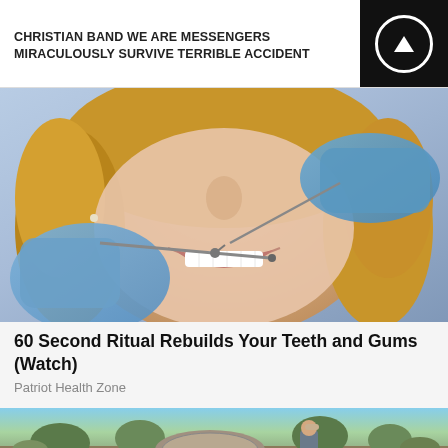CHRISTIAN BAND WE ARE MESSENGERS MIRACULOUSLY SURVIVE TERRIBLE ACCIDENT
[Figure (photo): Close-up photo of a woman smiling with white teeth while a dentist in blue gloves examines her teeth with dental tools]
60 Second Ritual Rebuilds Your Teeth and Gums (Watch)
Patriot Health Zone
[Figure (photo): Outdoor photo of a man standing next to a large circular stone or wooden disc structure in a desert/scrubland landscape with trees in the background]